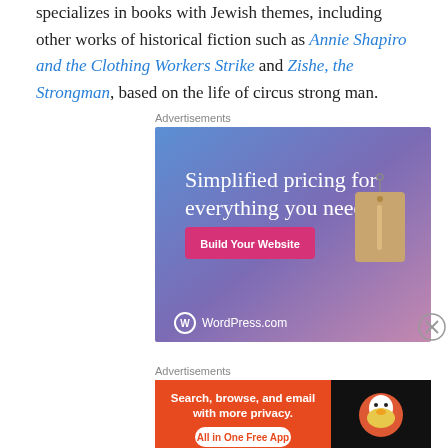specializes in books with Jewish themes, including other works of historical fiction such as Annie Shapiro and the Clothing Workers Strike and Zishe, the Strongman, based on the life of circus strong man.
Advertisements
[Figure (screenshot): WordPress.com advertisement: gradient blue-purple background with a price tag image. Text reads 'Simplified pricing for everything you need.' with a pink 'Build Your Website' button and WordPress.com logo at bottom left.]
Advertisements
[Figure (screenshot): DuckDuckGo advertisement: orange background on left with text 'Search, browse, and email with more privacy. All in One Free App' and black panel on right with DuckDuckGo duck logo.]